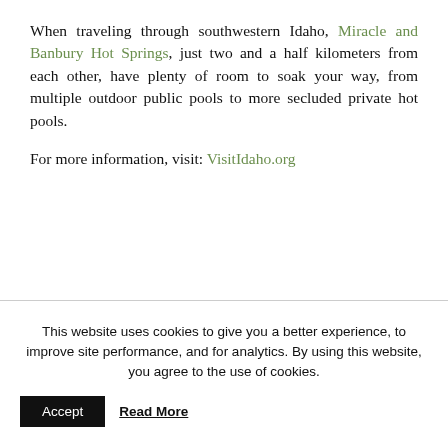When traveling through southwestern Idaho, Miracle and Banbury Hot Springs, just two and a half kilometers from each other, have plenty of room to soak your way, from multiple outdoor public pools to more secluded private hot pools.
For more information, visit: VisitIdaho.org
This website uses cookies to give you a better experience, to improve site performance, and for analytics. By using this website, you agree to the use of cookies.
Accept   Read More